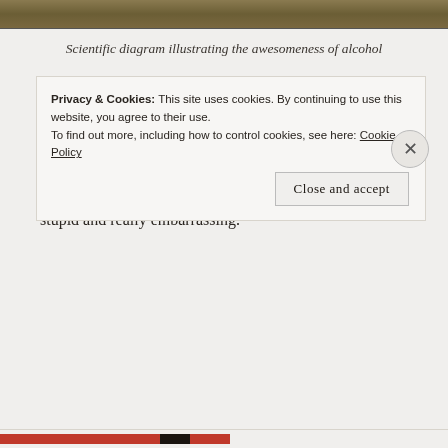[Figure (photo): Partial image strip at top showing a nature/outdoor scene with warm earthy tones]
Scientific diagram illustrating the awesomeness of alcohol
Alcohol is an excellent social lubricant (although Durex has a pretty decent line too). But your body pretty much sees it as a poison, so you have to be careful. If you drink booze like a camel, you’re going to end up in the hospital ER, or immortalized on YouTube doing something really stupid and really embarrassing.
Privacy & Cookies: This site uses cookies. By continuing to use this website, you agree to their use.
To find out more, including how to control cookies, see here: Cookie Policy
Close and accept